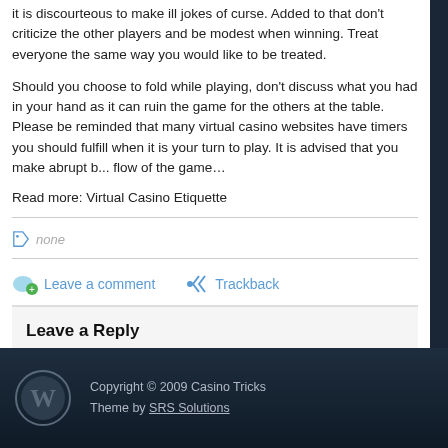it is discourteous to make ill jokes of curse. Added to that don't criticize the other players and be modest when winning. Treat everyone the same way you would like to be treated.
Should you choose to fold while playing, don't discuss what you had in your hand as it can ruin the game for the others at the table. Please be reminded that many virtual casino websites have timers you should fulfill when it is your turn to play. It is advised that you make abrupt b... flow of the game…
Read more: Virtual Casino Etiquette
none
Leave a comment   Trackback
Leave a Reply
You must be logged in to post a comment.
RSS feed for this post (comments)
Copyright © 2009 Casino Tricks
Theme by SRS Solutions